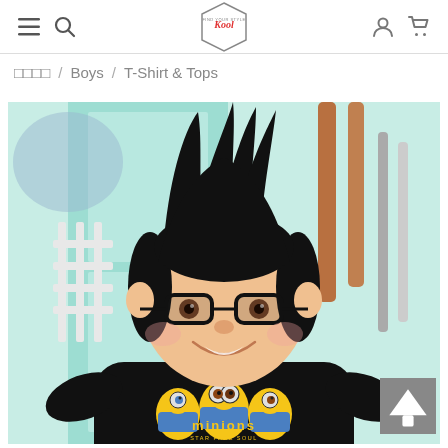Kool — navigation header with hamburger menu, search, logo, user and cart icons
□□□□ / Boys / T-Shirt & Tops
[Figure (photo): Young boy with spiked black hair wearing glasses and a black long-sleeve Minions t-shirt, standing in front of a light teal/mint door background.]